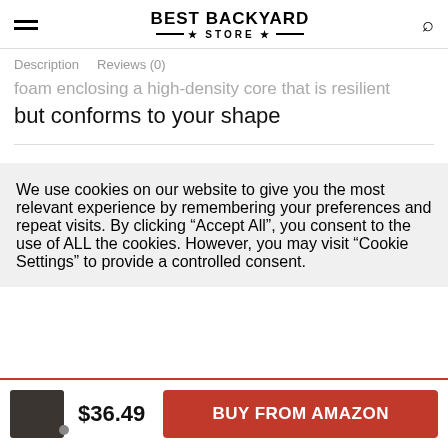BEST BACKYARD STORE
Description   Reviews (0)
foam enclosing a high-density core that is resilient but conforms to your shape
We use cookies on our website to give you the most relevant experience by remembering your preferences and repeat visits. By clicking “Accept All”, you consent to the use of ALL the cookies. However, you may visit “Cookie Settings” to provide a controlled consent.
$36.49  BUY FROM AMAZON